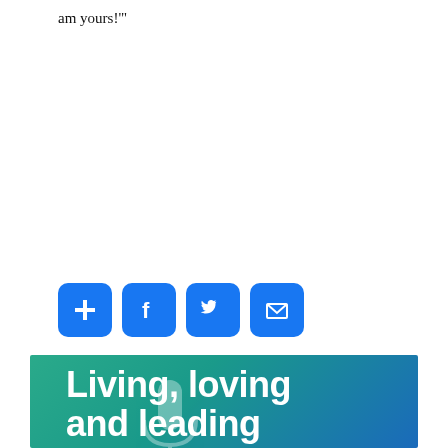am yours!'"
[Figure (infographic): Four social sharing icon buttons: a blue plus/share button, a blue Facebook 'f' button, a blue Twitter bird button, and a blue email envelope button]
[Figure (illustration): Banner image with teal-to-blue gradient background and microphone silhouette, large white bold text reading 'Living, loving and leading']